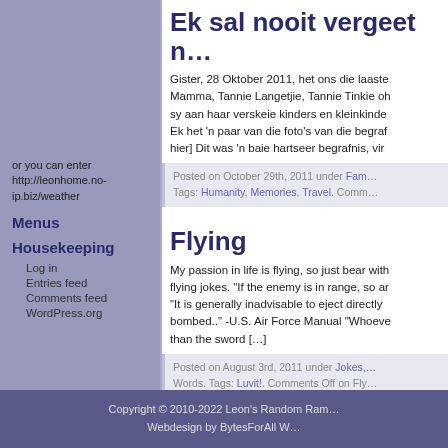Ek sal nooit vergeet n…
Gister, 28 Oktober 2011, het ons die laaste Mamma, Tannie Langetjie, Tannie Tinkie oh sy aan haar verskeie kinders en kleinkinde Ek het 'n paar van die foto's van die begraf hier] Dit was 'n baie hartseer begrafnis, vir
Posted on October 29th, 2011 under Fam Tags: Humanity, Memories, Travel. Comm
Flying
My passion in life is flying, so just bear with flying jokes. "If the enemy is in range, so ar "It is generally inadvisable to eject directly bombed.." -U.S. Air Force Manual "Whoeve than the sword […]
Posted on August 3rd, 2011 under Jokes, Words. Tags: Luvit!. Comments Off on Fly
or you can enter http://leonhome.no-ip.biz/weather
Menus
Housekeeping
Log in
Entries feed
Comments feed
WordPress.org
Copyright © 2010-2022 Leon's Random Ram… Webdesign by BytesForAll W…